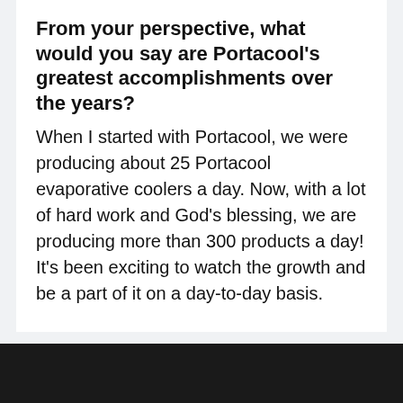From your perspective, what would you say are Portacool's greatest accomplishments over the years?
When I started with Portacool, we were producing about 25 Portacool evaporative coolers a day. Now, with a lot of hard work and God's blessing, we are producing more than 300 products a day! It's been exciting to watch the growth and be a part of it on a day-to-day basis.